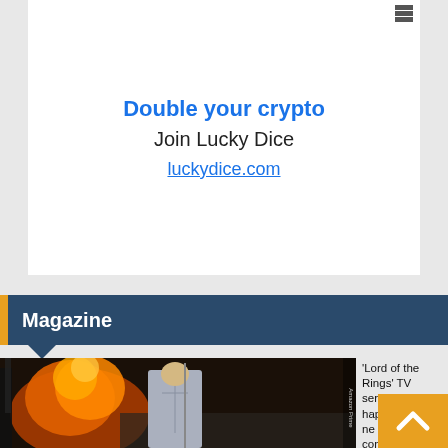[Figure (other): Advertisement banner with close icon]
Double your crypto
Join Lucky Dice
luckydice.com
Magazine
[Figure (photo): A woman in silver armor holding a spear standing before a fire explosion - Lord of the Rings TV series promotional image]
'Lord of the Rings' TV series: What happens when someone comes